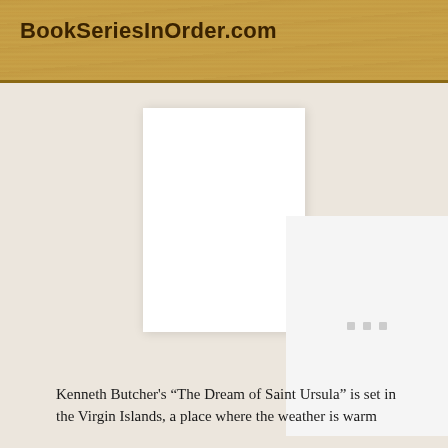BookSeriesInOrder.com
[Figure (other): Book cover placeholder with loading indicator (three small grey squares centered on white background)]
Kenneth Butcher's “The Dream of Saint Ursula” is set in the Virgin Islands, a place where the weather is warm